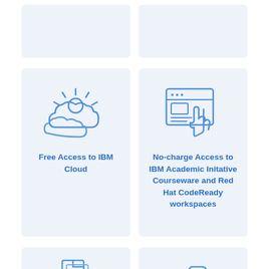[Figure (illustration): Top-left card (partially visible): light blue card, cropped at top]
[Figure (illustration): Top-right card (partially visible): light blue card, cropped at top]
[Figure (illustration): Middle-left card with cloud and sun icon. Text: Free Access to IBM Cloud]
Free Access to IBM Cloud
[Figure (illustration): Middle-right card with browser/touchscreen icon. Text: No-charge Access to IBM Academic Initative Courseware and Red Hat CodeReady workspaces]
No-charge Access to IBM Academic Initative Courseware and Red Hat CodeReady workspaces
[Figure (illustration): Bottom-left card (partially visible): light blue card with document icon, cropped at bottom]
[Figure (illustration): Bottom-right card (partially visible): light blue card with folder icon, cropped at bottom]